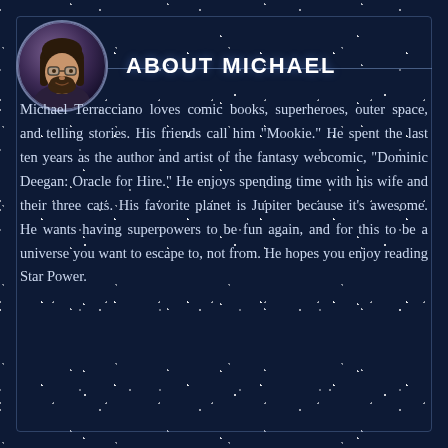[Figure (illustration): Circular portrait illustration of Michael Terracciano, a man with long dark hair, glasses, and a beard, set against a purple/space background]
ABOUT MICHAEL
Michael Terracciano loves comic books, superheroes, outer space, and telling stories. His friends call him "Mookie." He spent the last ten years as the author and artist of the fantasy webcomic, "Dominic Deegan: Oracle for Hire." He enjoys spending time with his wife and their three cats. His favorite planet is Jupiter because it's awesome. He wants having superpowers to be fun again, and for this to be a universe you want to escape to, not from. He hopes you enjoy reading Star Power.